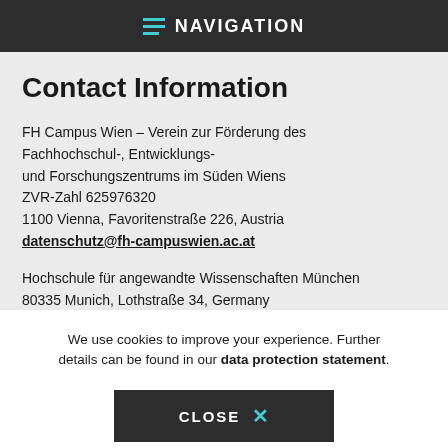NAVIGATION
Contact Information
FH Campus Wien – Verein zur Förderung des Fachhochschul-, Entwicklungs- und Forschungszentrums im Süden Wiens
ZVR-Zahl 625976320
1100 Vienna, Favoritenstraße 226, Austria
datenschutz@fh-campuswien.ac.at
Hochschule für angewandte Wissenschaften München
80335 Munich, Lothstraße 34, Germany
We use cookies to improve your experience. Further details can be found in our data protection statement.
CLOSE